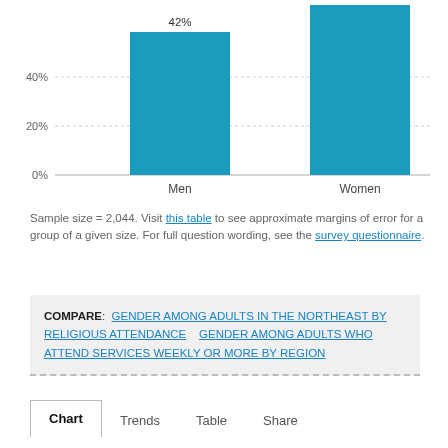[Figure (bar-chart): ]
Sample size = 2,044. Visit this table to see approximate margins of error for a group of a given size. For full question wording, see the survey questionnaire.
COMPARE: GENDER AMONG ADULTS IN THE NORTHEAST BY RELIGIOUS ATTENDANCE   GENDER AMONG ADULTS WHO ATTEND SERVICES WEEKLY OR MORE BY REGION
Chart   Trends   Table   Share